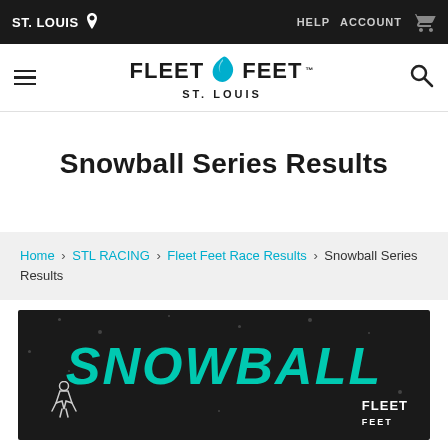ST. LOUIS | HELP  ACCOUNT
[Figure (logo): Fleet Feet St. Louis logo with teal wing icon]
Snowball Series Results
Home › STL RACING › Fleet Feet Race Results › Snowball Series Results
[Figure (photo): Dark background image with teal stylized SNOWBALL text and Fleet Feet logo]